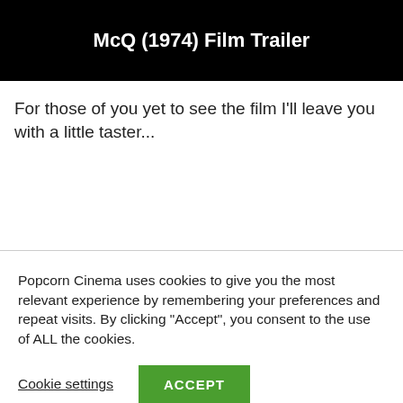McQ (1974) Film Trailer
For those of you yet to see the film I'll leave you with a little taster...
Popcorn Cinema uses cookies to give you the most relevant experience by remembering your preferences and repeat visits. By clicking "Accept", you consent to the use of ALL the cookies.
Cookie settings
ACCEPT